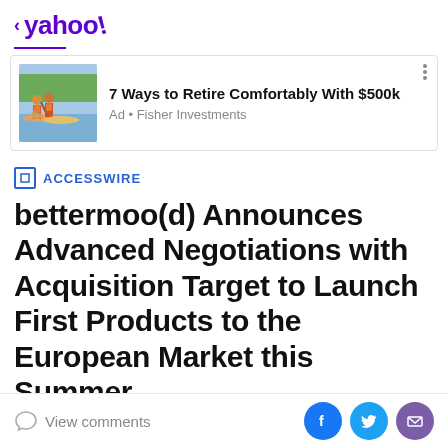< yahoo!
[Figure (illustration): Ad banner with illustration of two people paddleboarding with a dog. Text: '7 Ways to Retire Comfortably With $500k' Ad • Fisher Investments]
ACCESSWIRE
bettermoo(d) Announces Advanced Negotiations with Acquisition Target to Launch First Products to the European Market this Summer
June 11, 2022 · 6 min read
In this article:
View comments